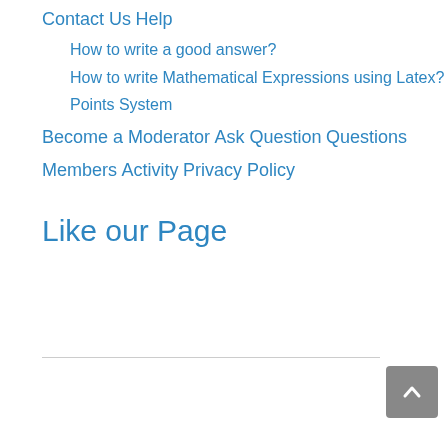Contact Us
Help
How to write a good answer?
How to write Mathematical Expressions using Latex?
Points System
Become a Moderator
Ask Question
Questions
Members
Activity
Privacy Policy
Like our Page